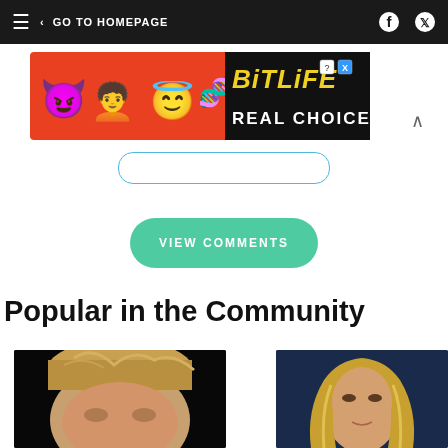GO TO HOMEPAGE
[Figure (photo): BitLife advertisement banner with emoji characters and 'REAL CHOICES' text on dark background]
VIEW COMMENTS
Popular in the Community
[Figure (photo): Close-up photo of a person with blonde hair against dark background]
[Figure (photo): Photo of a blonde woman on what appears to be a TV news set]